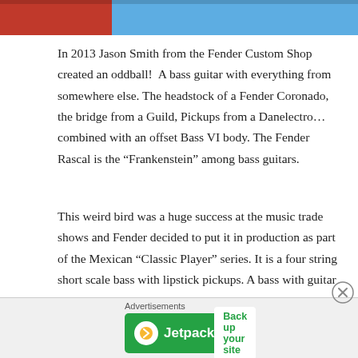[Figure (photo): Top portion of a bass guitar image showing red and teal/blue guitar body colors]
In 2013 Jason Smith from the Fender Custom Shop created an oddball! A bass guitar with everything from somewhere else. The headstock of a Fender Coronado, the bridge from a Guild, Pickups from a Danelectro… combined with an offset Bass VI body. The Fender Rascal is the “Frankenstein” among bass guitars.
This weird bird was a huge success at the music trade shows and Fender decided to put it in production as part of the Mexican “Classic Player” series. It is a four string short scale bass with lipstick pickups. A bass with guitar
[Figure (infographic): Jetpack advertisement banner with green background, Jetpack logo on left and 'Back up your site' button on right. 'Advertisements' label above.]